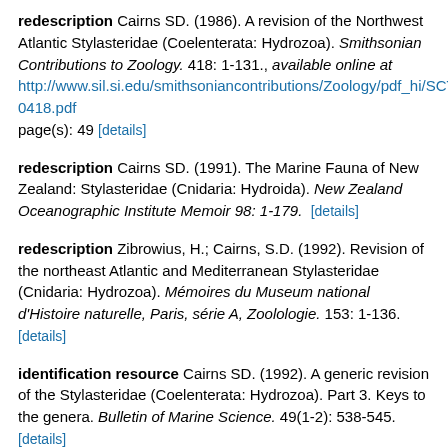redescription Cairns SD. (1986). A revision of the Northwest Atlantic Stylasteridae (Coelenterata: Hydrozoa). Smithsonian Contributions to Zoology. 418: 1-131., available online at http://www.sil.si.edu/smithsoniancontributions/Zoology/pdf_hi/SCTZ-0418.pdf page(s): 49 [details]
redescription Cairns SD. (1991). The Marine Fauna of New Zealand: Stylasteridae (Cnidaria: Hydroida). New Zealand Oceanographic Institute Memoir 98: 1-179. [details]
redescription Zibrowius, H.; Cairns, S.D. (1992). Revision of the northeast Atlantic and Mediterranean Stylasteridae (Cnidaria: Hydrozoa). Mémoires du Museum national d'Histoire naturelle, Paris, série A, Zoolologie. 153: 1-136. [details]
identification resource Cairns SD. (1992). A generic revision of the Stylasteridae (Coelenterata: Hydrozoa). Part 3. Keys to the genera. Bulletin of Marine Science. 49(1-2): 538-545. [details]